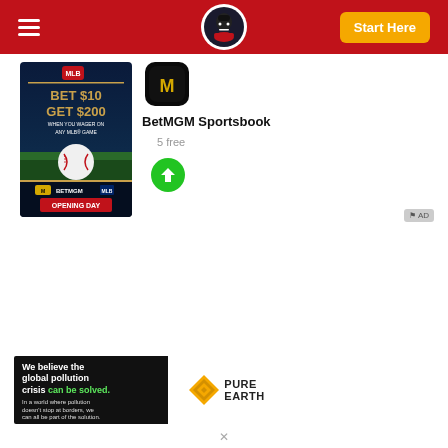[Figure (screenshot): Website header with red background, hamburger menu icon on left, masked figure logo in center, orange 'Start Here' button on right]
[Figure (screenshot): BetMGM sportsbook MLB promotion: 'BET $10 GET $200 WHEN YOU WAGER ON ANY MLB GAME', Opening Day advertisement with baseball image]
[Figure (screenshot): BetMGM Sportsbook app icon]
BetMGM Sportsbook
5 free
[Figure (illustration): Green circle download button with white downward arrow]
AD
[Figure (infographic): Pure Earth advertisement banner: 'We believe the global pollution crisis can be solved. In a world where pollution doesn't stop at borders, we can all be part of the solution. JOIN US.' with Pure Earth diamond logo]